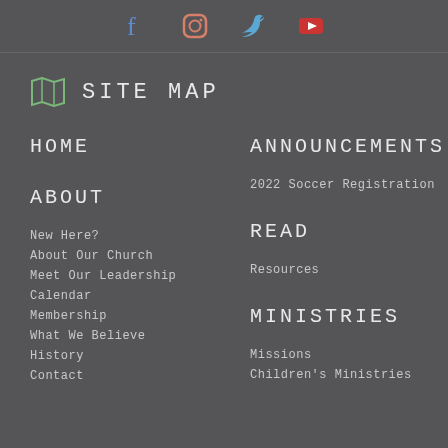[Figure (other): Social media icons row: Facebook (blue), Instagram (gradient), Twitter (blue), YouTube (red)]
SITE MAP
HOME
ABOUT
New Here?
About Our Church
Meet Our Leadership
Calendar
Membership
What We Believe
History
Contact
ANNOUNCEMENTS
2022 Soccer Registration
READ
Resources
MINISTRIES
Missions
Children's Ministries